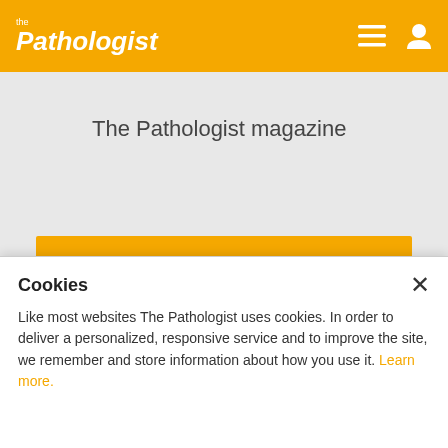the Pathologist
The Pathologist magazine
Register
August Issue of The Pathologist
OUTSIDE THE LAB
Cookies
Like most websites The Pathologist uses cookies. In order to deliver a personalized, responsive service and to improve the site, we remember and store information about how you use it. Learn more.